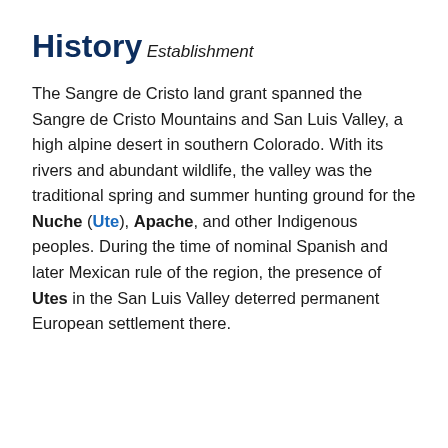History
Establishment
The Sangre de Cristo land grant spanned the Sangre de Cristo Mountains and San Luis Valley, a high alpine desert in southern Colorado. With its rivers and abundant wildlife, the valley was the traditional spring and summer hunting ground for the Nuche (Ute), Apache, and other Indigenous peoples. During the time of nominal Spanish and later Mexican rule of the region, the presence of Utes in the San Luis Valley deterred permanent European settlement there.